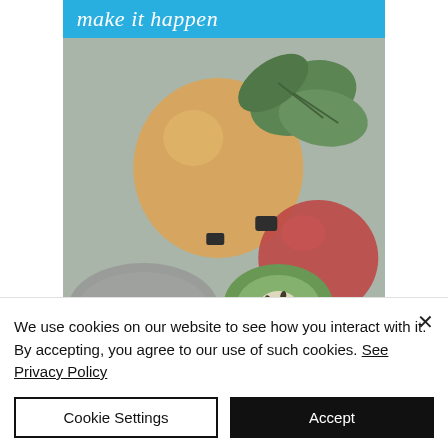make it happen
[Figure (photo): Close-up photo of assorted fruits including a lemon/citrus, kiwi, apple, and leaves on a muted gray-green background]
We use cookies on our website to see how you interact with it. By accepting, you agree to our use of such cookies. See Privacy Policy
Cookie Settings
Accept